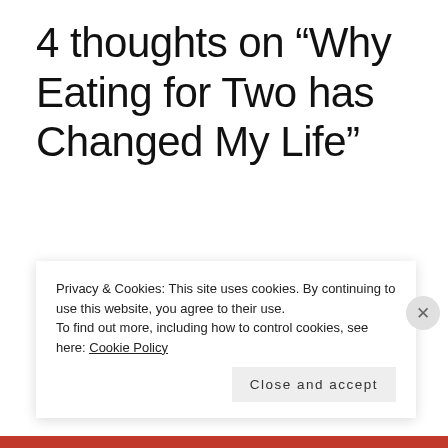4 thoughts on “Why Eating for Two has Changed My Life”
Privacy & Cookies: This site uses cookies. By continuing to use this website, you agree to their use.
To find out more, including how to control cookies, see here: Cookie Policy
Close and accept